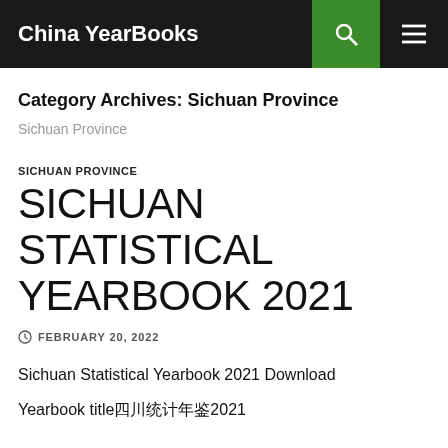China YearBooks
Category Archives: Sichuan Province
Sichuan Province
SICHUAN PROVINCE
SICHUAN STATISTICAL YEARBOOK 2021
FEBRUARY 20, 2022
Sichuan Statistical Yearbook 2021 Download
Yearbook title四川统计年鉴2021